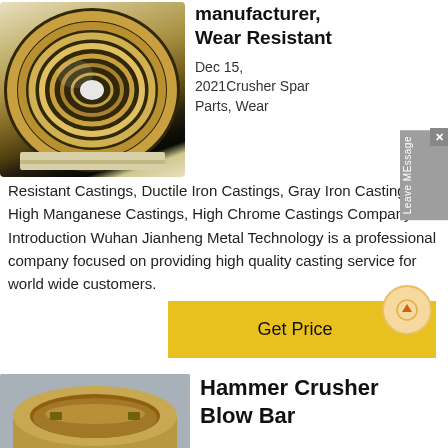[Figure (photo): Metallic conical bushing or bearing component with golden/bronze coloring, showing concentric rings viewed from above]
manufacturer, Wear Resistant
Dec 15, 2021Crusher Spare Parts, Wear Resistant Castings, Ductile Iron Castings, Gray Iron Castings, High Manganese Castings, High Chrome Castings Company Introduction Wuhan Jianheng Metal Technology is a professional company focused on providing high quality casting service for world wide customers.
[Figure (other): Get Price button with yellow background and circle arrow icon]
[Figure (photo): Metallic ring or bushing component with bronze/gold coloring, cylindrical shape, sitting on gray surface]
Hammer Crusher Blow Bar